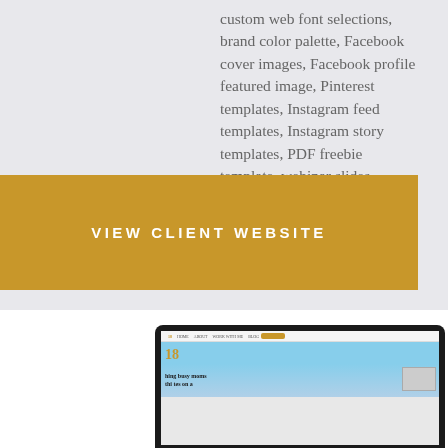custom web font selections, brand color palette, Facebook cover images, Facebook profile featured image, Pinterest templates, Instagram feed templates, Instagram story templates, PDF freebie template, webinar slides
VIEW CLIENT WEBSITE
[Figure (screenshot): Laptop screen showing a client website with a yellow/gold color scheme, navigation bar, and hero image with text 'helping busy moms' and 'athletes on a']